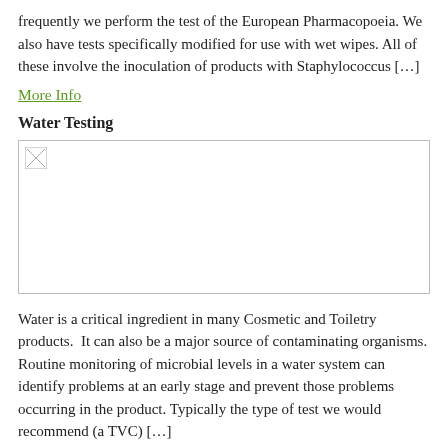frequently we perform the test of the European Pharmacopoeia. We also have tests specifically modified for use with wet wipes. All of these involve the inoculation of products with Staphylococcus […]
More Info
Water Testing
[Figure (photo): Broken/missing image placeholder representing water testing related content]
Water is a critical ingredient in many Cosmetic and Toiletry products.  It can also be a major source of contaminating organisms. Routine monitoring of microbial levels in a water system can identify problems at an early stage and prevent those problems occurring in the product. Typically the type of test we would recommend (a TVC) […]